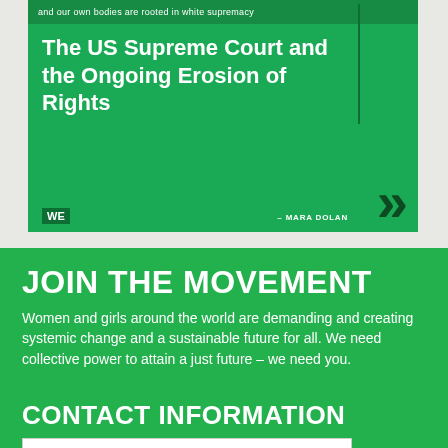[Figure (screenshot): Green card image showing text about 'The US Supreme Court and the Ongoing Erosion of Rights' with 'WE' label, author attribution to Mara Dolan, and decorative quotation mark.]
JOIN THE MOVEMENT
Women and girls around the world are demanding and creating systemic change and a sustainable future for all. We need collective power to attain a just future – we need you.
CONTACT INFORMATION
First Name
Last Name